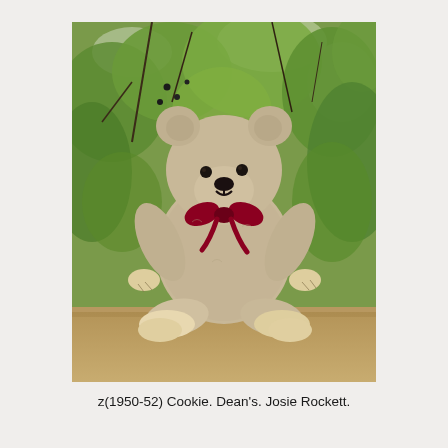[Figure (photo): A vintage teddy bear (Cookie, Dean's, circa 1950-52) with light tan/beige mohair fur, small ears, dark embroidered nose and mouth, and a red velvet ribbon bow tied at the neck. The bear is seated upright on a wooden surface with pale yellow felt paw pads. The background shows green leafy foliage and branches out of focus.]
z(1950-52) Cookie. Dean's. Josie Rockett.